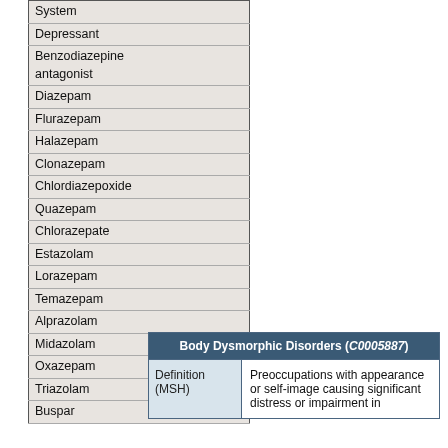| System |
| Depressant |
| Benzodiazepine antagonist |
| Diazepam |
| Flurazepam |
| Halazepam |
| Clonazepam |
| Chlordiazepoxide |
| Quazepam |
| Chlorazepate |
| Estazolam |
| Lorazepam |
| Temazepam |
| Alprazolam |
| Midazolam |
| Oxazepam |
| Triazolam |
| Buspar |
| Body Dysmorphic Disorders (C0005887) |
| --- |
| Definition (MSH) | Preoccupations with appearance or self-image causing significant distress or impairment in |